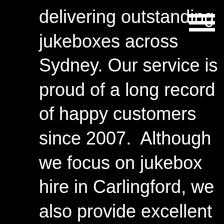delivering outstanding jukeboxes across Sydney. Our service is proud of a long record of happy customers since 2007.  Although we focus on jukebox hire in Carlingford, we also provide excellent party supplies including gas heaters for outdoor areas during cold winter nights. If you enjoy drinking frozen cocktails, slurpees or even frozen daiquiris then hire our slushee machine to treat your guests.
Our digital jukeboxes offer a combination of an old-fashioned classic with modern day twist, as song selections are interactive and entertaining for party guests. Call today to inquire and secure the best jukebox and tunes to go with it. Various functions such as sing-along karaoke and interactive videos will ensure your guests are involved and create fond memories for a long time to come. Our jukebox professionals are here to answer any questions you may have and give you details related to hosting a special